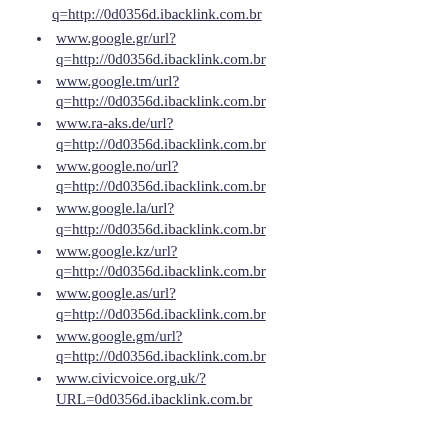q=http://0d0356d.ibacklink.com.br
www.google.gr/url?
q=http://0d0356d.ibacklink.com.br
www.google.tm/url?
q=http://0d0356d.ibacklink.com.br
www.ra-aks.de/url?
q=http://0d0356d.ibacklink.com.br
www.google.no/url?
q=http://0d0356d.ibacklink.com.br
www.google.la/url?
q=http://0d0356d.ibacklink.com.br
www.google.kz/url?
q=http://0d0356d.ibacklink.com.br
www.google.as/url?
q=http://0d0356d.ibacklink.com.br
www.google.gm/url?
q=http://0d0356d.ibacklink.com.br
www.civicvoice.org.uk/?
URL=0d0356d.ibacklink.com.br